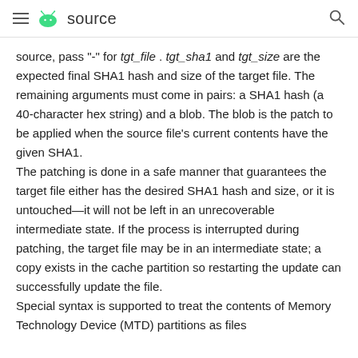≡  source  🔍
source, pass "-" for tgt_file . tgt_sha1 and tgt_size are the expected final SHA1 hash and size of the target file. The remaining arguments must come in pairs: a SHA1 hash (a 40-character hex string) and a blob. The blob is the patch to be applied when the source file's current contents have the given SHA1.
The patching is done in a safe manner that guarantees the target file either has the desired SHA1 hash and size, or it is untouched—it will not be left in an unrecoverable intermediate state. If the process is interrupted during patching, the target file may be in an intermediate state; a copy exists in the cache partition so restarting the update can successfully update the file.
Special syntax is supported to treat the contents of Memory Technology Device (MTD) partitions as files